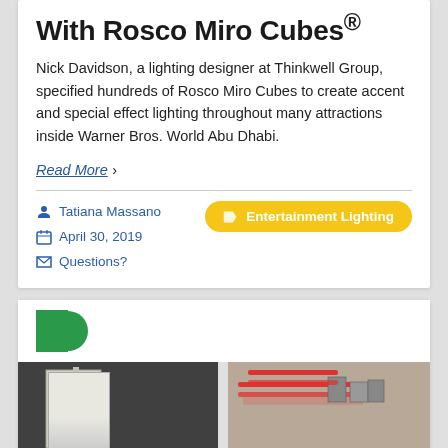With Rosco Miro Cubes®
Nick Davidson, a lighting designer at Thinkwell Group, specified hundreds of Rosco Miro Cubes to create accent and special effect lighting throughout many attractions inside Warner Bros. World Abu Dhabi.
Read More ›
Tatiana Massano
April 30, 2019
Questions?
Entertainment Lighting
[Figure (illustration): Green letter D logo on white background]
[Figure (photo): Two photos side by side: left shows a white illuminated panel in dark setting, right shows a red-striped board with small cube fixtures on tabletop]